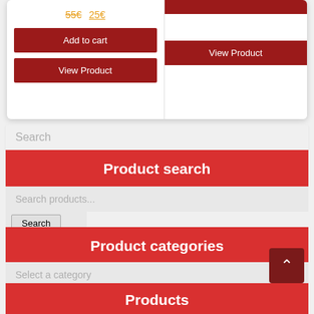[Figure (screenshot): E-commerce product card (left) showing prices 55€ and 25€, with 'Add to cart' and 'View Product' dark red buttons]
[Figure (screenshot): E-commerce product card (right) with dark red stripe at top and 'View Product' button]
Search
Product search
Search products...
Search
Product categories
Select a category
Products